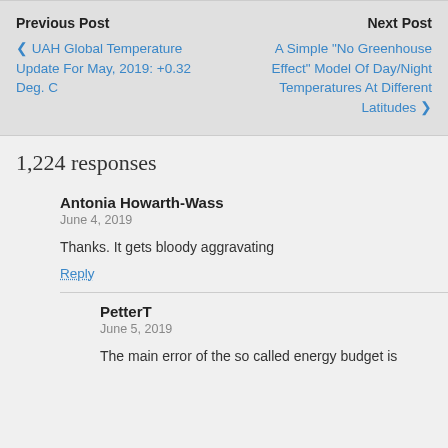Previous Post | Next Post
UAH Global Temperature Update For May, 2019: +0.32 Deg. C
A Simple "No Greenhouse Effect" Model Of Day/Night Temperatures At Different Latitudes
1,224 responses
Antonia Howarth-Wass
June 4, 2019
Thanks. It gets bloody aggravating
Reply
PetterT
June 5, 2019
The main error of the so called energy budget is